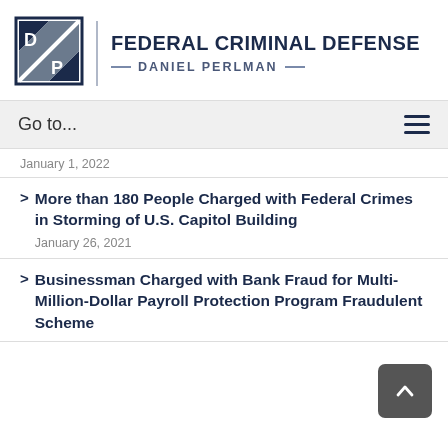[Figure (logo): Daniel Perlman Federal Criminal Defense logo with D/P initials in a square box with diagonal stripe, followed by firm name header]
FEDERAL CRIMINAL DEFENSE
DANIEL PERLMAN
Go to...
January 1, 2022
More than 180 People Charged with Federal Crimes in Storming of U.S. Capitol Building
January 26, 2021
Businessman Charged with Bank Fraud for Multi-Million-Dollar Payroll Protection Program Fraudulent Scheme